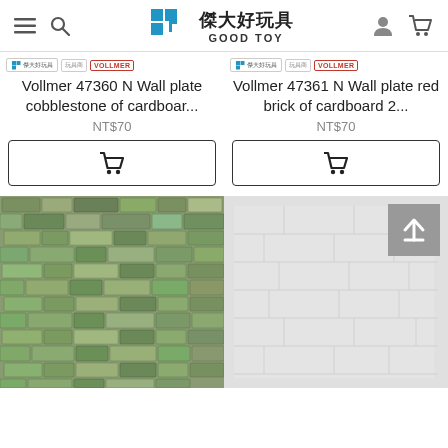傑大好玩具 GOOD TOY
[Figure (screenshot): Product listing: Vollmer 47360 N Wall plate cobblestone of cardboard... NT$70 with add to cart button]
[Figure (screenshot): Product listing: Vollmer 47361 N Wall plate red brick of cardboard 2... NT$70 with add to cart button]
[Figure (photo): Close-up photo of stone/cobblestone wall texture for model train scenery]
[Figure (photo): Light grey wall plate product image with scroll-to-top button overlay]